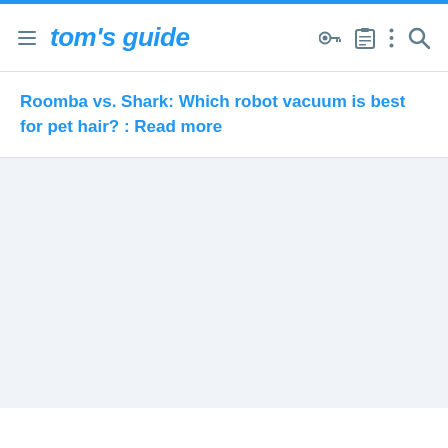tom's guide
Roomba vs. Shark: Which robot vacuum is best for pet hair? : Read more
[Figure (other): Light blue-grey empty content area placeholder]